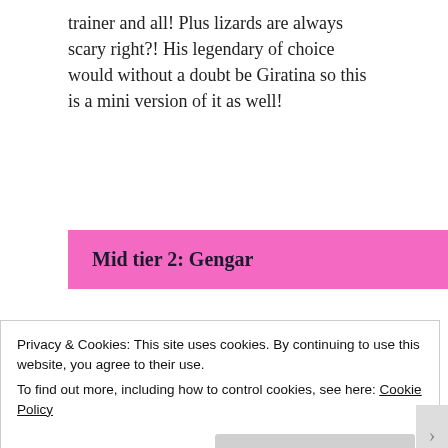trainer and all! Plus lizards are always scary right?! His legendary of choice would without a doubt be Giratina so this is a mini version of it as well!
Mid tier 2: Gengar
[Figure (illustration): Partial view of a dark purple triangular shape, likely part of a Gengar or related Pokemon illustration.]
One of the
Privacy & Cookies: This site uses cookies. By continuing to use this website, you agree to their use.
To find out more, including how to control cookies, see here: Cookie Policy